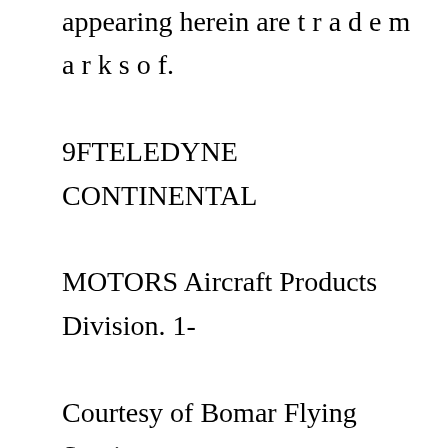appearing herein are t r a d e m a r k s o f. 9FTELEDYNE CONTINENTAL MOTORS Aircraft Products Division. 1- Courtesy of Bomar Flying Service www.bomar.biz. FORM X-30043A. MARCH 1979 Courtesy of Bomar Flying Service www.bomar.biz Continental TSIO-520 Series 1982 Operator's Manual (part# X30044) Product Search: Home: Manual TSIO-360 series Engine Maintenance and Overhaul Manual: October 2017: Page